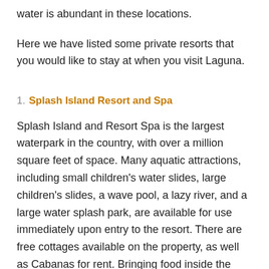water is abundant in these locations.
Here we have listed some private resorts that you would like to stay at when you visit Laguna.
1. Splash Island Resort and Spa
Splash Island and Resort Spa is the largest waterpark in the country, with over a million square feet of space. Many aquatic attractions, including small children's water slides, large children's slides, a wave pool, a lazy river, and a large water splash park, are available for use immediately upon entry to the resort. There are free cottages available on the property, as well as Cabanas for rent. Bringing food inside the park is not permitted; nevertheless, the park offers a variety of food alternatives as well as boodle packages for large groups of